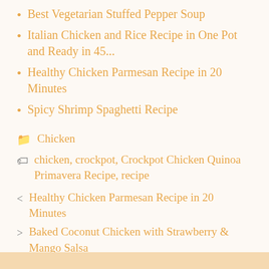Best Vegetarian Stuffed Pepper Soup
Italian Chicken and Rice Recipe in One Pot and Ready in 45...
Healthy Chicken Parmesan Recipe in 20 Minutes
Spicy Shrimp Spaghetti Recipe
Chicken
chicken, crockpot, Crockpot Chicken Quinoa Primavera Recipe, recipe
< Healthy Chicken Parmesan Recipe in 20 Minutes
> Baked Coconut Chicken with Strawberry & Mango Salsa